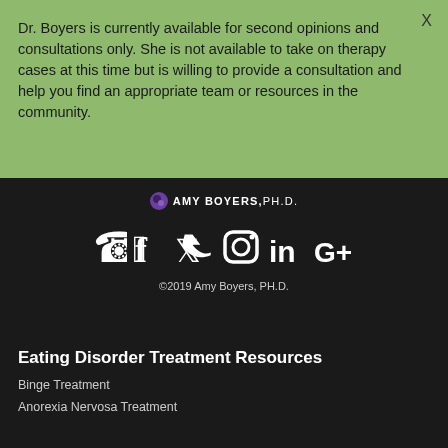Dr. Boyers is currently available for second opinions and consultations only. She is not available to take on therapy cases at this time but is willing to provide a consultation and help you find an appropriate team or resources in the community.
[Figure (logo): Amy Boyers Ph.D. logo with purple circle icon and bold text]
[Figure (infographic): Social media icons: phone, Facebook, Twitter, Instagram, LinkedIn, Google+]
©2019 Amy Boyers, PH.D.
Eating Disorder Treatment Resources
Binge Treatment
Anorexia Nervosa Treatment